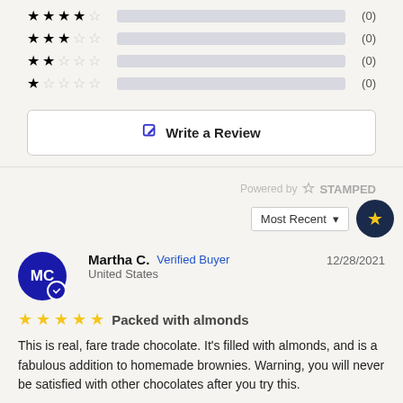[Figure (other): Star rating rows: 4-star, 3-star, 2-star, 1-star each with a gray progress bar and (0) count]
Write a Review
Powered by STAMPED
Most Recent
Martha C.  Verified Buyer  United States  12/28/2021
Packed with almonds
This is real, fare trade chocolate. It's filled with almonds, and is a fabulous addition to homemade brownies. Warning, you will never be satisfied with other chocolates after you try this.